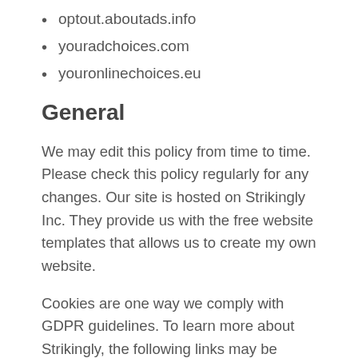optout.aboutads.info
youradchoices.com
youronlinechoices.eu
General
We may edit this policy from time to time. Please check this policy regularly for any changes. Our site is hosted on Strikingly Inc. They provide us with the free website templates that allows us to create my own website.
Cookies are one way we comply with GDPR guidelines. To learn more about Strikingly, the following links may be helpful: Youtube Facebook Twitter SXL